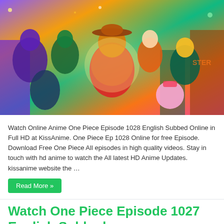[Figure (illustration): Colorful anime illustration featuring One Piece characters including Luffy in the center wearing a red shirt and straw hat, surrounded by crew members Zoro, Nami, Robin, Franky, Chopper, and others in a vibrant action pose]
Watch Online Anime One Piece Episode 1028 English Subbed Online in Full HD at KissAnime. One Piece Ep 1028 Online for free Episode. Download Free One Piece All episodes in high quality videos. Stay in touch with hd anime to watch the All latest HD Anime Updates. kissanime website the …
Read More »
Watch One Piece Episode 1027 English Subbed
July 29, 2022   Watch One Piece   0